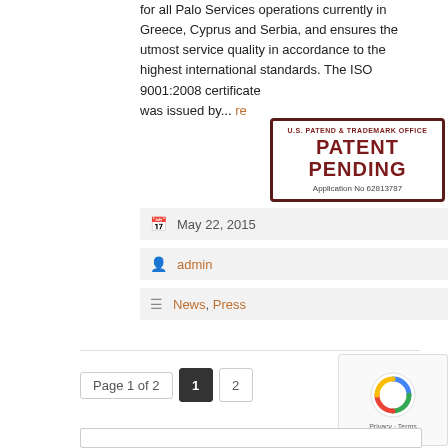for all Palo Services operations currently in Greece, Cyprus and Serbia, and ensures the utmost service quality in accordance to the highest international standards. The ISO 9001:2008 certificate was issued by... re
[Figure (other): U.S. Patent Pending stamp overlay with text: U.S. PATEND & TRADEMARK OFFICE, PATENT PENDING, Application No 62813787]
May 22, 2015
admin
News, Press
Page 1 of 2  1  2